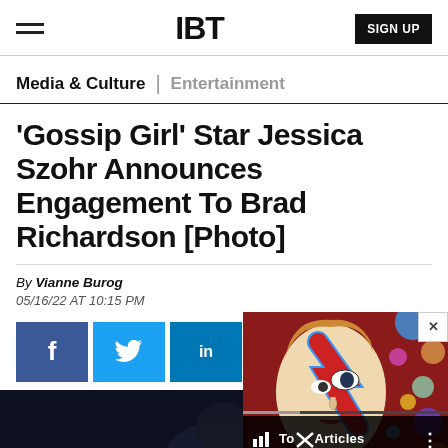IBT | SIGN UP
Media & Culture | Entertainment
'Gossip Girl' Star Jessica Szohr Announces Engagement To Brad Richardson [Photo]
By Vianne Burog
05/16/22 AT 10:15 PM
[Figure (screenshot): Social sharing buttons: Facebook, Twitter, LinkedIn, Reddit, Flipboard, Email and an overlay thumbnail showing a David Bowie-style face painting with Top Articles label]
[Figure (photo): Dark photograph of a person, partially visible at bottom of page]